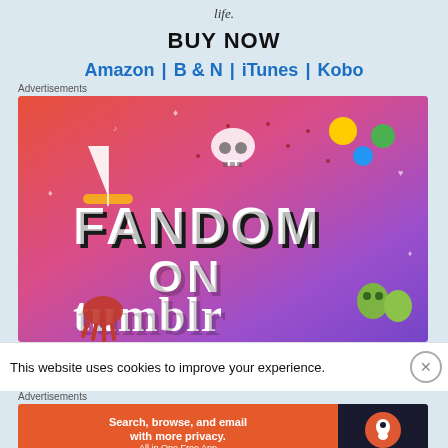life.
BUY NOW
Amazon | B & N | iTunes | Kobo
Advertisements
[Figure (illustration): Colorful gradient advertisement image for Fandom on Tumblr, featuring doodles of a sailboat, skull, dice, octopus, and cartoon characters with the text FANDOM ON tumblr in large block letters]
This website uses cookies to improve your experience.
Advertisements
[Figure (infographic): DuckDuckGo advertisement: orange left panel with text 'Search, browse, and email with more privacy. All in One Free App' and dark right panel with DuckDuckGo logo]